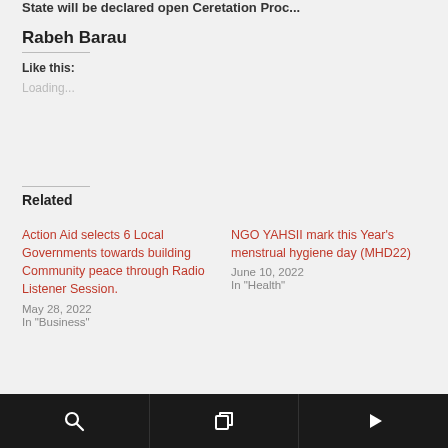State will be declared open Ceretation Proc.
Rabeh Barau
Like this:
Loading...
Related
Action Aid selects 6 Local Governments towards building Community peace through Radio Listener Session.
May 28, 2022
In "Business"
NGO YAHSII mark this Year's menstrual hygiene day (MHD22)
June 10, 2022
In "Health"
Kaduna State Programme Manager To be elected...